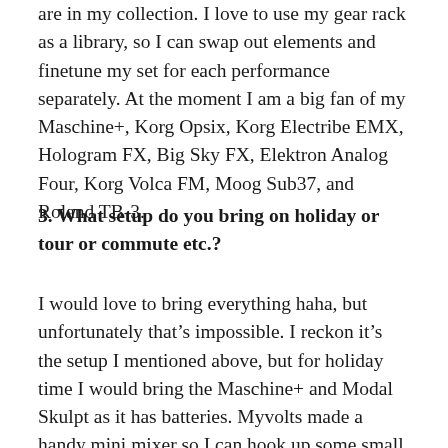are in my collection. I love to use my gear rack as a library, so I can swap out elements and finetune my set for each performance separately. At the moment I am a big fan of my Maschine+, Korg Opsix, Korg Electribe EMX, Hologram FX, Big Sky FX, Elektron Analog Four, Korg Volca FM, Moog Sub37, and Roland TB-3.
3. What setup do you bring on holiday or tour or commute etc.?
I would love to bring everything haha, but unfortunately that's impossible. I reckon it's the setup I mentioned above, but for holiday time I would bring the Maschine+ and Modal Skulpt as it has batteries. Myvolts made a handy mini mixer so I can hook up some small devices to it. They also have incredible coloured cables which makes my holiday